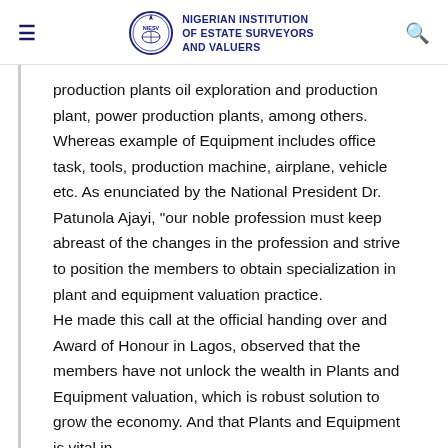NIGERIAN INSTITUTION OF ESTATE SURVEYORS AND VALUERS
production plants oil exploration and production plant, power production plants, among others. Whereas example of Equipment includes office task, tools, production machine, airplane, vehicle etc. As enunciated by the National President Dr. Patunola Ajayi, "our noble profession must keep abreast of the changes in the profession and strive to position the members to obtain specialization in plant and equipment valuation practice.
He made this call at the official handing over and Award of Honour in Lagos, observed that the members have not unlock the wealth in Plants and Equipment valuation, which is robust solution to grow the economy. And that Plants and Equipment is vital in